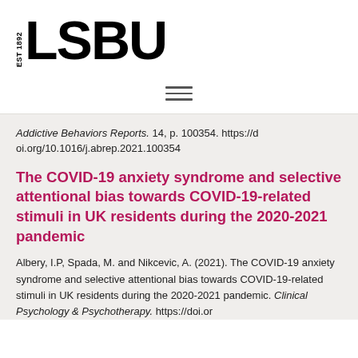[Figure (logo): LSBU logo with EST 1892 text and bold LSBU lettering]
≡
Addictive Behaviors Reports. 14, p. 100354. https://doi.org/10.1016/j.abrep.2021.100354
The COVID-19 anxiety syndrome and selective attentional bias towards COVID-19-related stimuli in UK residents during the 2020-2021 pandemic
Albery, I.P, Spada, M. and Nikcevic, A. (2021). The COVID-19 anxiety syndrome and selective attentional bias towards COVID-19-related stimuli in UK residents during the 2020-2021 pandemic. Clinical Psychology & Psychotherapy. https://doi.or